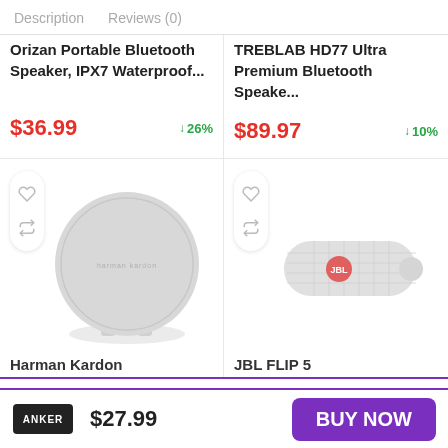Description   Reviews (0)
Orizan Portable Bluetooth Speaker, IPX7 Waterproof...
$36.99  ↓26%
TREBLAB HD77 Ultra Premium Bluetooth Speake...
$89.97  ↓10%
[Figure (photo): Harman Kardon round Bluetooth speaker, white/gray]
Harman Kardon
[Figure (photo): JBL Flip 5 portable Bluetooth speaker, white]
JBL FLIP 5
[Figure (photo): Anker Soundcore small black Bluetooth speaker]
$27.99
BUY NOW